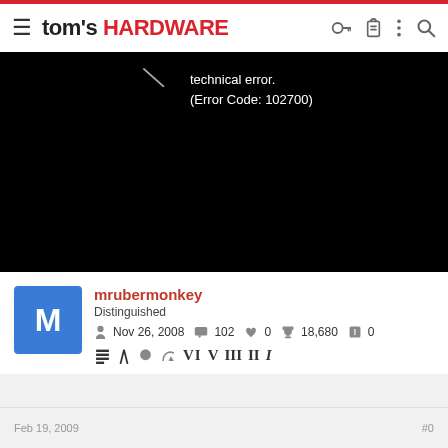tom's HARDWARE
[Figure (screenshot): Black video player area showing error text: 'technical error. (Error Code: 102700)']
technical error.
(Error Code: 102700)
mrubermonkey
Distinguished
Nov 26, 2008   102   0   18,680   0